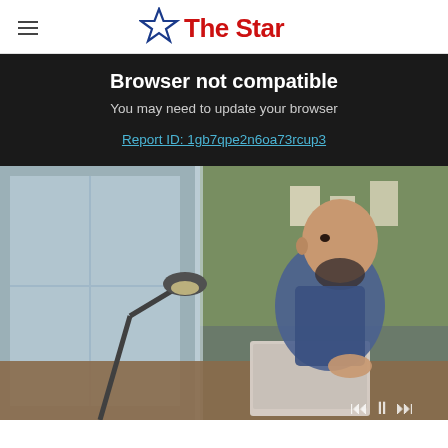The Star
Browser not compatible
You may need to update your browser
Report ID: 1gb7qpe2n6oa73rcup3
[Figure (photo): A bearded bald man sitting at a desk with a laptop and desk lamp, looking thoughtfully to the side in an office setting with green and glass walls in the background.]